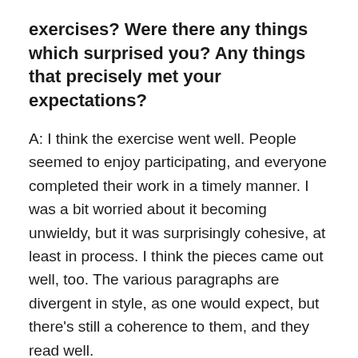exercises? Were there any things which surprised you? Any things that precisely met your expectations?
A: I think the exercise went well. People seemed to enjoy participating, and everyone completed their work in a timely manner. I was a bit worried about it becoming unwieldy, but it was surprisingly cohesive, at least in process. I think the pieces came out well, too. The various paragraphs are divergent in style, as one would expect, but there's still a coherence to them, and they read well.
I am pleasantly surprised by the talented writers who chose to join me for this project. When I put out the call, I did not know who would respond, but, considering this was basically a shot-in-the-dark, it's amazing to me how